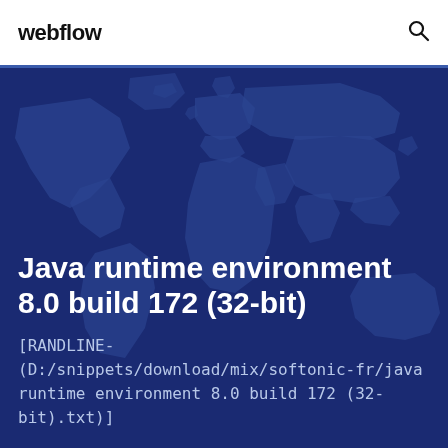webflow
Java runtime environment 8.0 build 172 (32-bit)
[RANDLINE-(D:/snippets/download/mix/softonic-fr/java runtime environment 8.0 build 172 (32-bit).txt)]